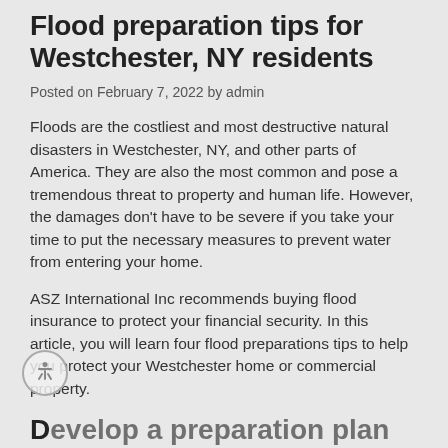Flood preparation tips for Westchester, NY residents
Posted on February 7, 2022 by admin
Floods are the costliest and most destructive natural disasters in Westchester, NY, and other parts of America. They are also the most common and pose a tremendous threat to property and human life. However, the damages don't have to be severe if you take your time to put the necessary measures to prevent water from entering your home.
ASZ International Inc recommends buying flood insurance to protect your financial security. In this article, you will learn four flood preparations tips to help you protect your Westchester home or commercial property.
Develop a preparation plan